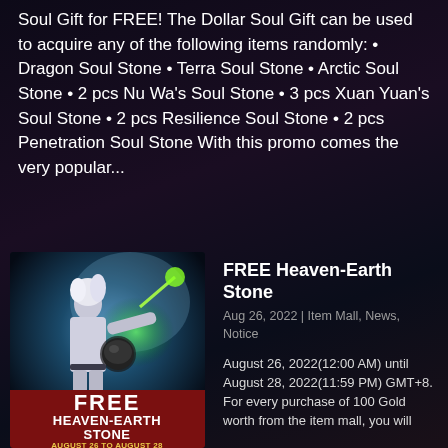Soul Gift for FREE! The Dollar Soul Gift can be used to acquire any of the following items randomly: • Dragon Soul Stone • Terra Soul Stone • Arctic Soul Stone • 2 pcs Nu Wa's Soul Stone • 3 pcs Xuan Yuan's Soul Stone • 2 pcs Resilience Soul Stone • 2 pcs Penetration Soul Stone With this promo comes the very popular...
[Figure (illustration): Promotional artwork for FREE Heaven-Earth Stone event showing a fantasy warrior character with white hair wielding a glowing weapon, with event text overlay reading FREE HEAVEN-EARTH STONE, AUGUST 26 TO AUGUST 28]
FREE Heaven-Earth Stone
Aug 26, 2022 | Item Mall, News, Notice
August 26, 2022(12:00 AM) until August 28, 2022(11:59 PM) GMT+8. For every purchase of 100 Gold worth from the item mall, you will